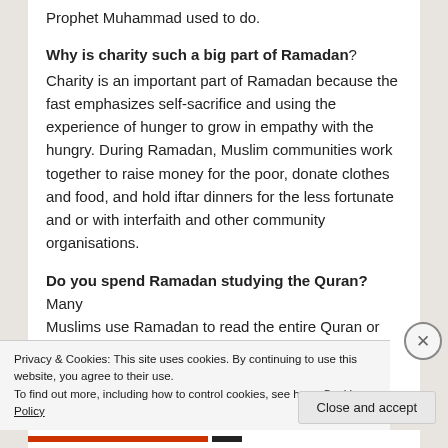Prophet Muhammad used to do.
Why is charity such a big part of Ramadan?
Charity is an important part of Ramadan because the fast emphasizes self-sacrifice and using the experience of hunger to grow in empathy with the hungry. During Ramadan, Muslim communities work together to raise money for the poor, donate clothes and food, and hold iftar dinners for the less fortunate and or with interfaith and other community organisations.
Do you spend Ramadan studying the Quran? Many
Muslims use Ramadan to read the entire Quran or
Privacy & Cookies: This site uses cookies. By continuing to use this website, you agree to their use.
To find out more, including how to control cookies, see here: Cookie Policy